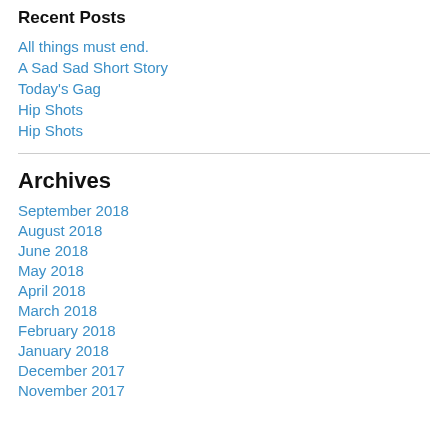Recent Posts
All things must end.
A Sad Sad Short Story
Today's Gag
Hip Shots
Hip Shots
Archives
September 2018
August 2018
June 2018
May 2018
April 2018
March 2018
February 2018
January 2018
December 2017
November 2017